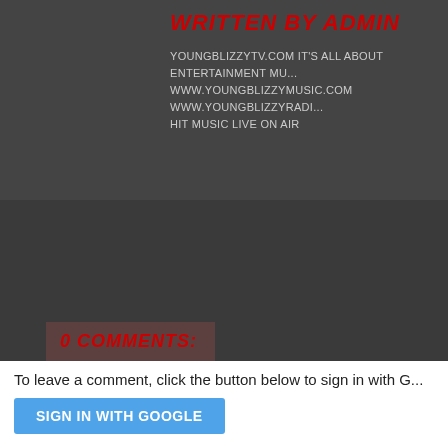[Figure (photo): Avatar/profile placeholder image showing a silhouette of a person in a suit against a gray background]
WRITTEN BY ADMIN
YOUNGBLIZZYTV.COM IT'S ALL ABOUT ENTERTAINMENT MU... WWW.YOUNGBLIZZYMUSIC.COM WWW.YOUNGBLIZZYRADI... HIT MUSIC LIVE ON AIR
0 COMMENTS:
To leave a comment, click the button below to sign in with G...
SIGN IN WITH GOOGLE